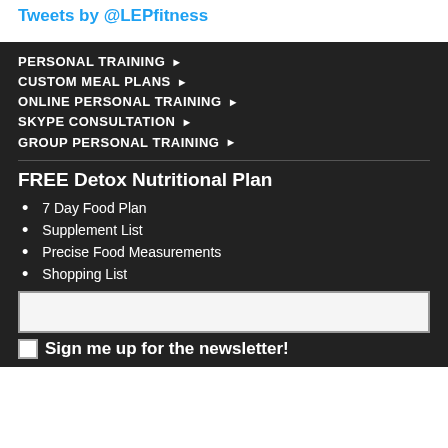Tweets by @LEPfitness
PERSONAL TRAINING ▶
CUSTOM MEAL PLANS ▶
ONLINE PERSONAL TRAINING ▶
SKYPE CONSULTATION ▶
GROUP PERSONAL TRAINING ▶
FREE Detox Nutritional Plan
7 Day Food Plan
Supplement List
Precise Food Measurements
Shopping List
Sign me up for the newsletter!